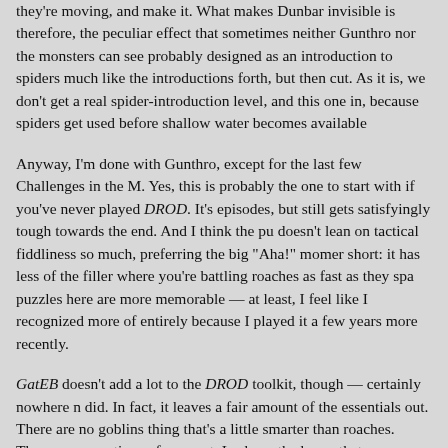they're moving, and make it. What makes Dunbar invisible is therefore, the peculiar effect that sometimes neither Gunthro nor the monsters can see probably designed as an introduction to spiders much like the introductions forth, but then cut. As it is, we don't get a real spider-introduction level, and this one in, because spiders get used before shallow water becomes available
Anyway, I'm done with Gunthro, except for the last few Challenges in the M. Yes, this is probably the one to start with if you've never played DROD. It's episodes, but still gets satisfyingly tough towards the end. And I think the pu doesn't lean on tactical fiddliness so much, preferring the big "Aha!" momer short: it has less of the filler where you're battling roaches as fast as they spa puzzles here are more memorable — at least, I feel like I recognized more of entirely because I played it a few years more recently.
GatEB doesn't add a lot to the DROD toolkit, though — certainly nowhere n did. In fact, it leaves a fair amount of the essentials out. There are no goblins thing that's a little smarter than roaches. There are no potions of any sort. Ins have the horns that summon friendly soldiers and squaddies from offscreen, we have the shallow water effect — all of which make things just a little bit versions. Most strikingly (and it took me a while to notice this), there is no ta That's a pretty big deal, considering how those substances dominated portion domination of the experience is why it was probably a good idea to leave the